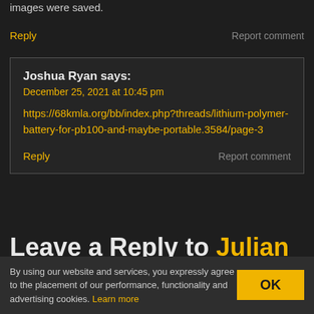images were saved.
Reply
Report comment
Joshua Ryan says:
December 25, 2021 at 10:45 pm
https://68kmla.org/bb/index.php?threads/lithium-polymer-battery-for-pb100-and-maybe-portable.3584/page-3
Reply
Report comment
Leave a Reply to Julian Skidmore
By using our website and services, you expressly agree to the placement of our performance, functionality and advertising cookies. Learn more